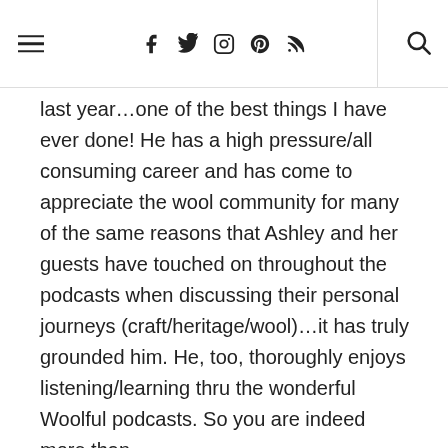Navigation header with hamburger menu, social icons (Facebook, Twitter, Instagram, Pinterest, RSS), and search
last year…one of the best things I have ever done! He has a high pressure/all consuming career and has come to appreciate the wool community for many of the same reasons that Ashley and her guests have touched on throughout the podcasts when discussing their personal journeys (craft/heritage/wool)…it has truly grounded him. He, too, thoroughly enjoys listening/learning thru the wonderful Woolful podcasts. So you are indeed more than